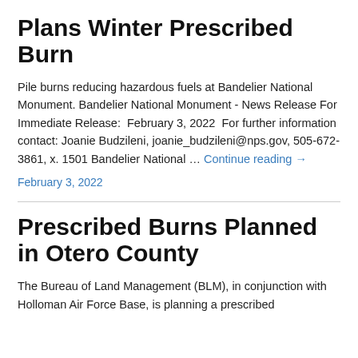Plans Winter Prescribed Burn
Pile burns reducing hazardous fuels at Bandelier National Monument. Bandelier National Monument - News Release For Immediate Release:  February 3, 2022  For further information contact: Joanie Budzileni, joanie_budzileni@nps.gov, 505-672-3861, x. 1501 Bandelier National … Continue reading →
February 3, 2022
Prescribed Burns Planned in Otero County
The Bureau of Land Management (BLM), in conjunction with Holloman Air Force Base, is planning a prescribed